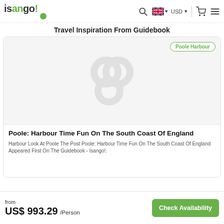[Figure (logo): Isango! travel website logo in green and dark colors]
Travel Inspiration From Guidebook
[Figure (photo): Card image area with placeholder loading icon for Poole Harbour article]
Poole: Harbour Time Fun On The South Coast Of England
Harbour Look At Poole The Post Poole: Harbour Time Fun On The South Coast Of England Appeared First On The Guidebook - Isango!.
from US$ 993.29 /Person